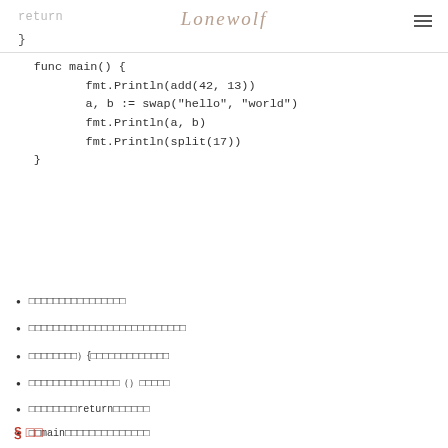return Lonewolf
}
func main() {
    fmt.Println(add(42, 13))
    a, b := swap("hello", "world")
    fmt.Println(a, b)
    fmt.Println(split(17))
}
□□□□□□□□□□□□□□□□
□□□□□□□□□□□□□□□□□□□□□□□□□□
□□□□□□□□）{□□□□□□□□□□□□□
□□□□□□□□□□□□□□□（）□□□□□
□□□□□□□□return□□□□□□
□□main□□□□□□□□□□□□□□
§ □□